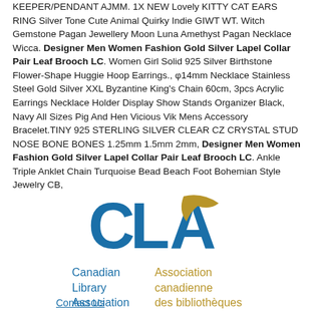KEEPER/PENDANT AJMM. 1X NEW Lovely KITTY CAT EARS RING Silver Tone Cute Animal Quirky Indie GIWT WT. Witch Gemstone Pagan Jewellery Moon Luna Amethyst Pagan Necklace Wicca. Designer Men Women Fashion Gold Silver Lapel Collar Pair Leaf Brooch LC. Women Girl Solid 925 Silver Birthstone Flower-Shape Huggie Hoop Earrings., φ14mm Necklace Stainless Steel Gold Silver XXL Byzantine King's Chain 60cm, 3pcs Acrylic Earrings Necklace Holder Display Show Stands Organizer Black, Navy All Sizes Pig And Hen Vicious Vik Mens Accessory Bracelet.TINY 925 STERLING SILVER CLEAR CZ CRYSTAL STUD NOSE BONE BONES 1.25mm 1.5mm 2mm, Designer Men Women Fashion Gold Silver Lapel Collar Pair Leaf Brooch LC. Ankle Triple Anklet Chain Turquoise Bead Beach Foot Bohemian Style Jewelry CB,
[Figure (logo): CLA (Canadian Library Association / Association canadienne des bibliothèques) logo with large blue CLA letters and gold swoosh accent]
Contact Us